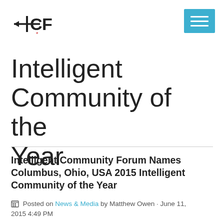[Figure (logo): ICF logo with arrow and red asterisk, top left]
[Figure (other): Blue hamburger menu button, top right]
Intelligent Community of the Year
Intelligent Community Forum Names Columbus, Ohio, USA 2015 Intelligent Community of the Year
Posted on News & Media by Matthew Owen · June 11, 2015 4:49 PM